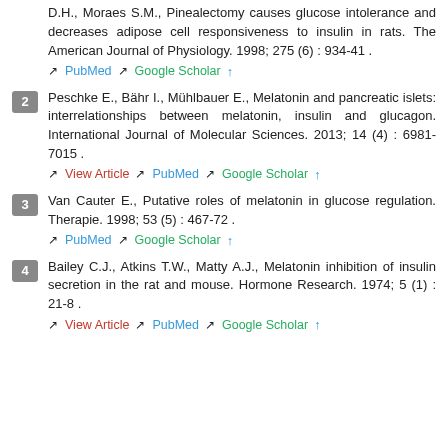1. D.H., Moraes S.M., Pinealectomy causes glucose intolerance and decreases adipose cell responsiveness to insulin in rats. The American Journal of Physiology. 1998; 275 (6) : 934-41 . [PubMed] [Google Scholar]
2. Peschke E., Bähr I., Mühlbauer E., Melatonin and pancreatic islets: interrelationships between melatonin, insulin and glucagon. International Journal of Molecular Sciences. 2013; 14 (4) : 6981-7015 . [View Article] [PubMed] [Google Scholar]
3. Van Cauter E., Putative roles of melatonin in glucose regulation. Therapie. 1998; 53 (5) : 467-72 . [PubMed] [Google Scholar]
4. Bailey C.J., Atkins T.W., Matty A.J., Melatonin inhibition of insulin secretion in the rat and mouse. Hormone Research. 1974; 5 (1) : 21-8 . [View Article] [PubMed] [Google Scholar]